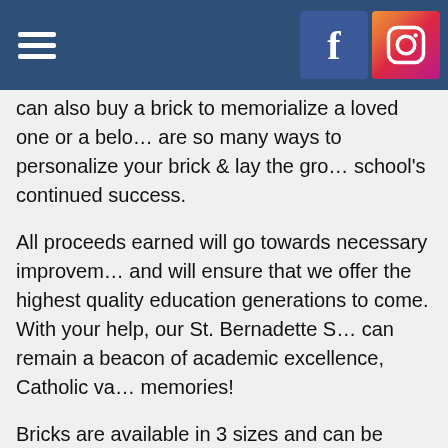[hamburger menu] [Facebook icon] [Instagram icon]
can also buy a brick to memorialize a loved one or a bel... are so many ways to personalize your brick & lay the gro... school's continued success.
All proceeds earned will go towards necessary improvem... and will ensure that we offer the highest quality education generations to come. With your help, our St. Bernadette S... can remain a beacon of academic excellence, Catholic va... memories!
Bricks are available in 3 sizes and can be produced with ... clipart. Clipart costs an additional $30. To view all availab... please visit the Polar Engraving website linked here. You for a PDF version of our Bernie's Bricks campaign brochu...
Help us lay the pave the way for another 70 years of aca... Catholic values, and strong community ties!
Click here to order your personalized...